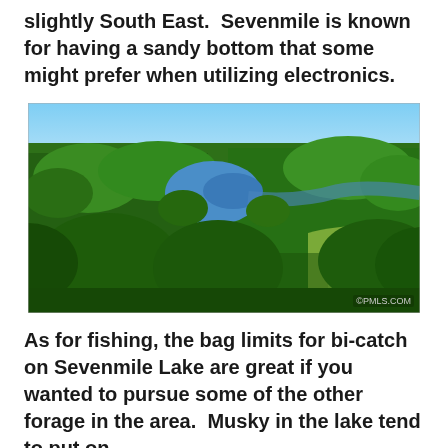slightly South East. Sevenmile is known for having a sandy bottom that some might prefer when utilizing electronics.
[Figure (photo): Aerial photograph of a forested landscape with a small blue lake visible among dense green trees, with a grassy clearing and path below. Watermark reads ©PMLS.COM in lower right.]
As for fishing, the bag limits for bi-catch on Sevenmile Lake are great if you wanted to pursue some of the other forage in the area. Musky in the lake tend to put on